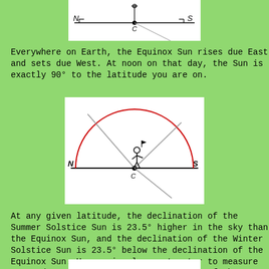[Figure (schematic): Top diagram showing a horizontal N-S line with a point C in the center, a vertical line going up from C, and a diagonal line going down-right from C. Small bracket marks at N and S ends.]
Everywhere on Earth, the Equinox Sun rises due East and sets due West. At noon on that day, the Sun is exactly 90° to the latitude you are on.
[Figure (schematic): Diagram of a semicircle arc in red, with N on the left and S on the right of a horizontal baseline. A figure of a person stands at center point C. Diagonal lines extend from C toward the arc and below the baseline.]
At any given latitude, the declination of the Summer Solstice Sun is 23.5° higher in the sky than the Equinox Sun, and the declination of the Winter Solstice Sun is 23.5° below the declination of the Equinox Sun. Use a circular protractor to measure 23.5° degrees above and below the path of the Equinox Sun.
[Figure (schematic): Partially visible bottom diagram, white box, content cut off.]